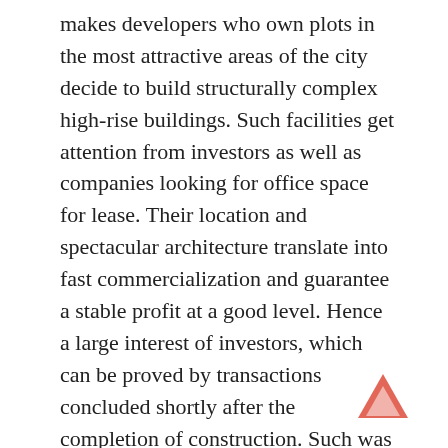makes developers who own plots in the most attractive areas of the city decide to build structurally complex high-rise buildings. Such facilities get attention from investors as well as companies looking for office space for lease. Their location and spectacular architecture translate into fast commercialization and guarantee a stable profit at a good level. Hence a large interest of investors, which can be proved by transactions concluded shortly after the completion of construction. Such was the case of Q22, Spark C and Browary Warszawskie – lists Bartłomiej Zagrodnik, Managing Partner at Walter Herz.
The expert admits that the central area of the agglomeration gathers the majority of large projects currently implemented in Warsaw, which in the upcoming years will provide three quarters